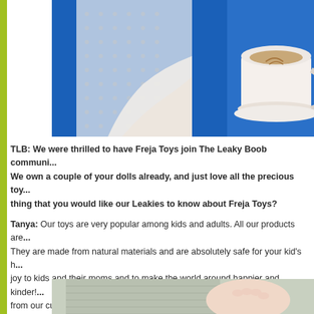[Figure (photo): Person in blue vest and white mesh top holding a white coffee cup with saucer]
TLB: We were thrilled to have Freja Toys join The Leaky Boob communi... We own a couple of your dolls already, and just love all the precious toy... thing that you would like our Leakies to know about Freja Toys?
Tanya: Our toys are very popular among kids and adults. All our products are... They are made from natural materials and are absolutely safe for your kid's h... joy to kids and their moms and to make the world around happier and kinder!... from our customers. They are a great source of our inspiration!
[Figure (photo): Person in grey knitted sweater holding a baby]